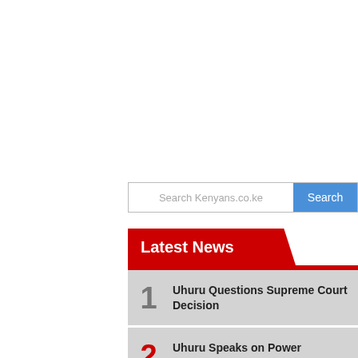[Figure (screenshot): Search bar with placeholder text 'Search Kenyans.co.ke' and a blue 'Search' button]
Latest News
1 Uhuru Questions Supreme Court Decision
2 Uhuru Speaks on Power Transition
3 Martha Karua Roasts Standard